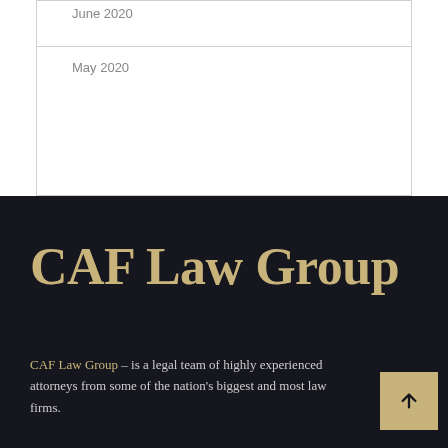June 2020
May 2020
CAF Law Group
CAF Law Group – is a legal team of highly experienced attorneys from some of the nation's biggest and most law firms.